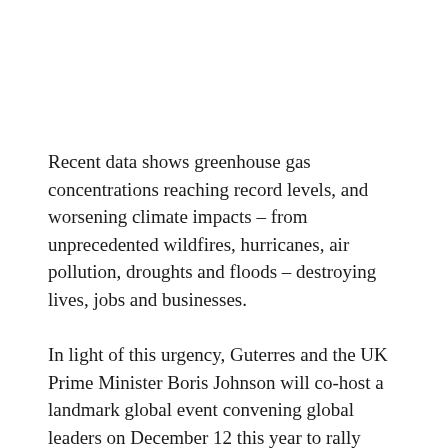Recent data shows greenhouse gas concentrations reaching record levels, and worsening climate impacts – from unprecedented wildfires, hurricanes, air pollution, droughts and floods – destroying lives, jobs and businesses.
In light of this urgency, Guterres and the UK Prime Minister Boris Johnson will co-host a landmark global event convening global leaders on December 12 this year to rally much greater climate action and ambition.